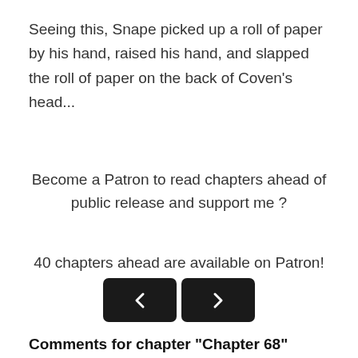Seeing this, Snape picked up a roll of paper by his hand, raised his hand, and slapped the roll of paper on the back of Coven's head...
Become a Patron to read chapters ahead of public release and support me ?
40 chapters ahead are available on Patron!
[Figure (other): Two navigation buttons (left arrow and right arrow) with dark rounded rectangle backgrounds]
Comments for chapter "Chapter 68"
COMMENTS